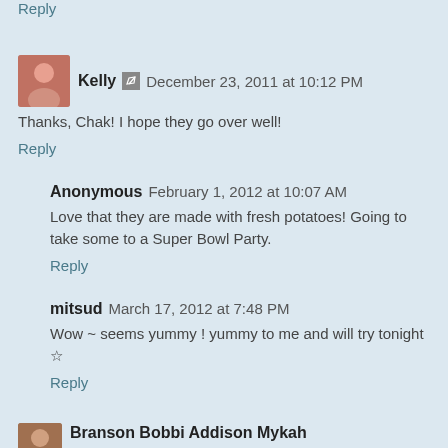Reply
Kelly ✏ December 23, 2011 at 10:12 PM
Thanks, Chak! I hope they go over well!
Reply
Anonymous February 1, 2012 at 10:07 AM
Love that they are made with fresh potatoes! Going to take some to a Super Bowl Party.
Reply
mitsud March 17, 2012 at 7:48 PM
Wow ~ seems yummy ! yummy to me and will try tonight ☆
Reply
Branson Bobbi Addison Mykah April 16, 2012 at 2:42